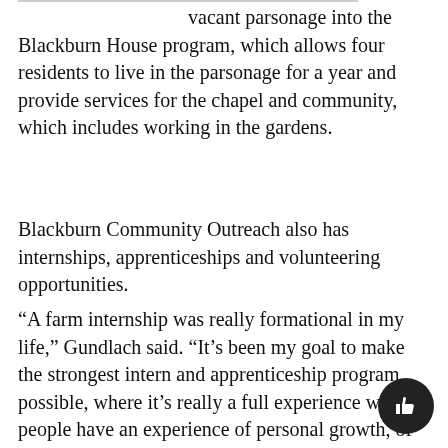vacant parsonage into the Blackburn House program, which allows four residents to live in the parsonage for a year and provide services for the chapel and community, which includes working in the gardens.
Blackburn Community Outreach also has internships, apprenticeships and volunteering opportunities.
“A farm internship was really formational in my life,” Gundlach said. “It’s been my goal to make the strongest intern and apprenticeship program possible, where it’s really a full experience where people have an experience of personal growth, of spiritual connection to the land, and that we’re fully invested in them.”